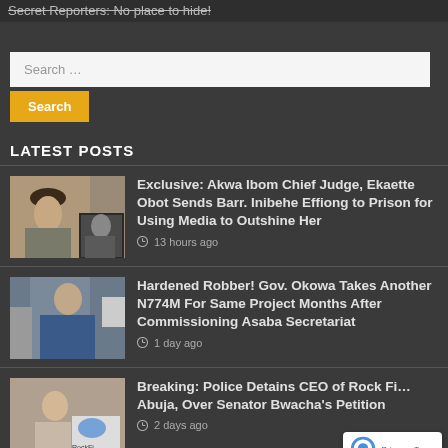Secret Reporters: No place to hide!
Search …
Search
LATEST POSTS
[Figure (photo): Composite photo: woman in hat seated at desk (main), man in smaller inset photo]
Exclusive: Akwa Ibom Chief Judge, Ekaette Obot Sends Barr. Inibehe Effiong to Prison for Using Media to Outshine Her
13 hours ago
[Figure (photo): Man in blue suit and glasses standing near wall unit]
Hardened Robber! Gov. Okowa Takes Another N774M For Same Project Months After Commissioning Asaba Secretariat
1 day ago
[Figure (photo): Man standing in front of a store with logo sign]
Breaking: Police Detains CEO of Rock Fi… Abuja, Over Senator Bwacha's Petition
2 days ago